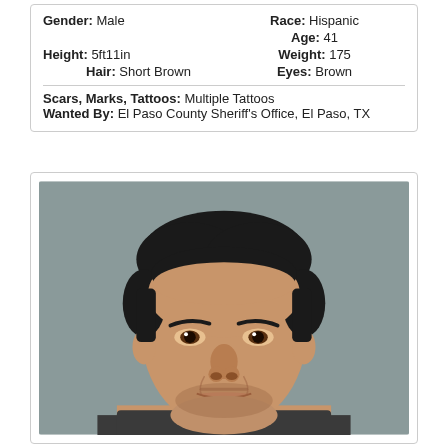Gender: Male | Race: Hispanic | Age: 41 | Height: 5ft11in | Weight: 175 | Hair: Short Brown | Eyes: Brown | Scars, Marks, Tattoos: Multiple Tattoos | Wanted By: El Paso County Sheriff's Office, El Paso, TX
[Figure (photo): Mugshot of a Hispanic male, approximately 41 years old, with short dark curly hair, appearing to be a law enforcement booking photograph with a gray background.]